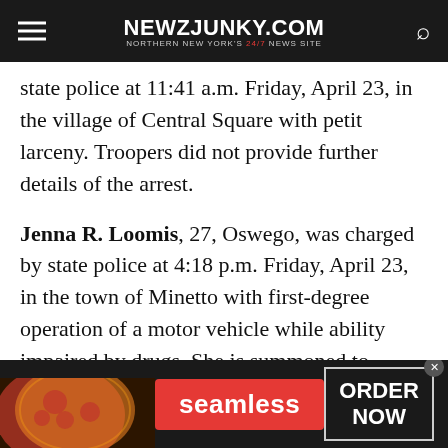NEWZJUNKY.COM — NORTHERN NEW YORK'S 24/7 NEWS SITE
state police at 11:41 a.m. Friday, April 23, in the village of Central Square with petit larceny. Troopers did not provide further details of the arrest.
Jenna R. Loomis, 27, Oswego, was charged by state police at 4:18 p.m. Friday, April 23, in the town of Minetto with first-degree operation of a motor vehicle while ability impaired by drugs. She is summoned to appear in court at a later date.
[Figure (screenshot): Seamless food ordering advertisement banner at the bottom of the page, showing pizza image on left, Seamless red button in center, and ORDER NOW box on right with an X close button.]